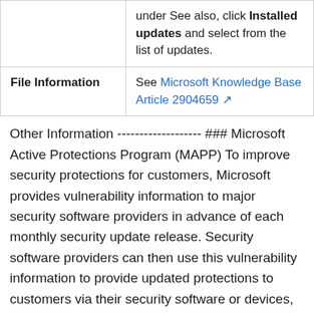|  | under See also, click Installed updates and select from the list of updates. |
| File Information | See Microsoft Knowledge Base Article 2904659 |
Other Information ------------------- ### Microsoft Active Protections Program (MAPP) To improve security protections for customers, Microsoft provides vulnerability information to major security software providers in advance of each monthly security update release. Security software providers can then use this vulnerability information to provide updated protections to customers via their security software or devices, such as antivirus, network-based intrusion detection systems, or host-based intrusion prevention systems. To determine whether active protections are available from security software providers, please go to the active protections websites provided by program partners, listed in [Microsoft Active Protections